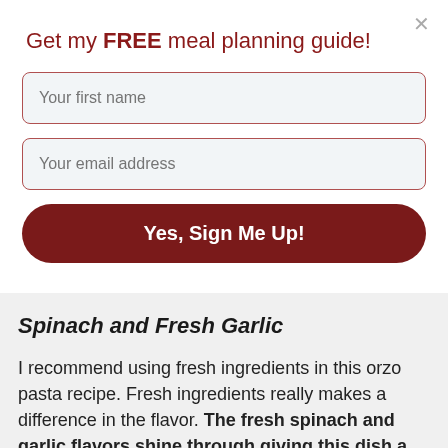Get my FREE meal planning guide!
Your first name
Your email address
Yes, Sign Me Up!
Spinach and Fresh Garlic
I recommend using fresh ingredients in this orzo pasta recipe. Fresh ingredients really makes a difference in the flavor. The fresh spinach and garlic flavors shine through giving this dish a ton of flavor instead of being bland.
To make this all in one skillet for easier cleanup, I